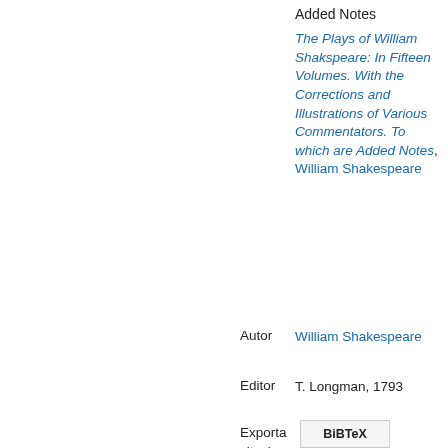Added Notes
The Plays of William Shakspeare: In Fifteen Volumes. With the Corrections and Illustrations of Various Commentators. To which are Added Notes, William Shakespeare
Autor
William Shakespeare
Editor
T. Longman, 1793
Exporta citacions
BiBTeX
EndNote